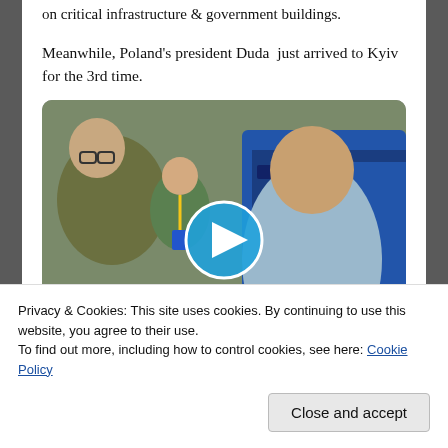on critical infrastructure & government buildings.
Meanwhile, Poland's president Duda just arrived to Kyiv for the 3rd time.
[Figure (photo): Video thumbnail showing people near a blue train car, with a blue circular play button overlay.]
81   3,853
Privacy & Cookies: This site uses cookies. By continuing to use this website, you agree to their use.
To find out more, including how to control cookies, see here: Cookie Policy
"Crimea is and will be a part of Ukraine, just